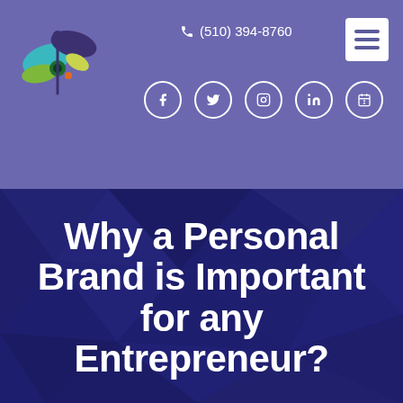[Figure (logo): Butterfly/bird logo with colorful feathers in teal, green, purple tones]
(510) 394-8760
[Figure (illustration): Hamburger menu icon (three horizontal lines) in white box]
[Figure (illustration): Social media icons row: Facebook, Twitter, Instagram, LinkedIn, Calendar — white circle outlines]
Why a Personal Brand is Important for any Entrepreneur?